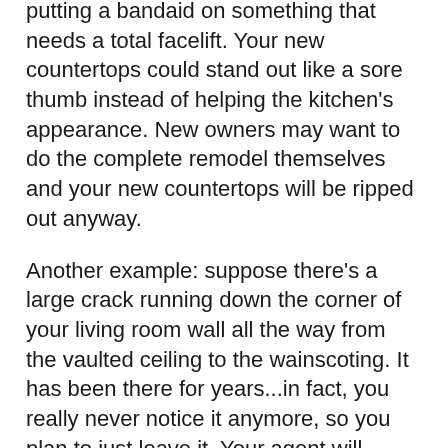putting a bandaid on something that needs a total facelift. Your new countertops could stand out like a sore thumb instead of helping the kitchen's appearance. New owners may want to do the complete remodel themselves and your new countertops will be ripped out anyway.
Another example: suppose there's a large crack running down the corner of your living room wall all the way from the vaulted ceiling to the wainscoting. It has been there for years...in fact, you really never notice it anymore, so you plan to just leave it. Your agent will probably tell you that home hunters will spot that crack quickly and suspect it was caused by foundation problems. Fix the crack and repaint; it's not an expensive job.
Agents are experts at evaluating what needs to be done. Your agent will tour your property inside and out to show